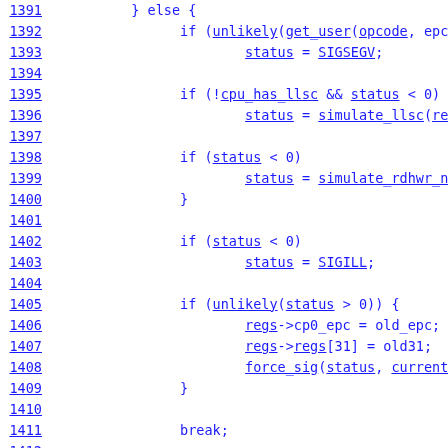Source code listing lines 1391-1415
1391    } else {
1392        if (unlikely(get_user(opcode, epc) < 0))
1393            status = SIGSEGV;
1394
1395        if (!cpu_has_llsc && status < 0)
1396            status = simulate_llsc(regs, opcode);
1397
1398        if (status < 0)
1399            status = simulate_rdhwr_normal(regs...
1400        }
1401
1402        if (status < 0)
1403            status = SIGILL;
1404
1405        if (unlikely(status > 0)) {
1406            regs->cp0_epc = old_epc;   /* Undo sl...
1407            regs->regs[31] = old31;
1408            force_sig(status, current);
1409        }
1410
1411        break;
1412
1413    case 3:
1414        /*
1415         * The COP3 opcode space and consequent...